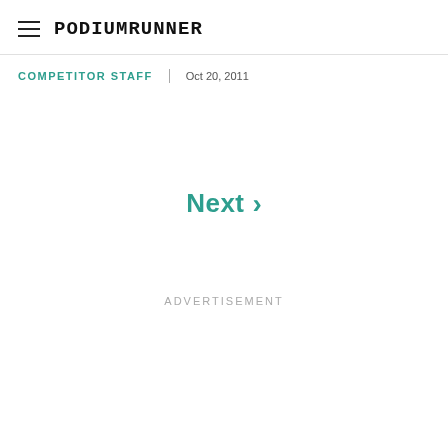PodiumRunner
COMPETITOR STAFF   Oct 20, 2011
Next >
ADVERTISEMENT